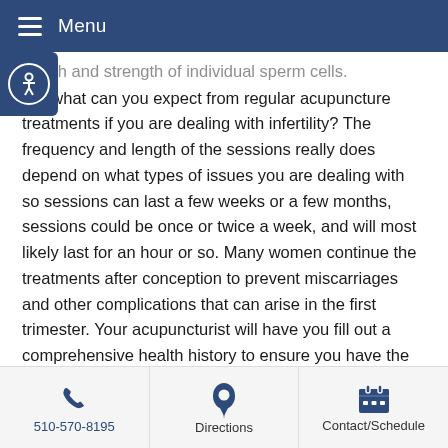Menu
health and strength of individual sperm cells.
So, what can you expect from regular acupuncture treatments if you are dealing with infertility? The frequency and length of the sessions really does depend on what types of issues you are dealing with so sessions can last a few weeks or a few months, sessions could be once or twice a week, and will most likely last for an hour or so. Many women continue the treatments after conception to prevent miscarriages and other complications that can arise in the first trimester. Your acupuncturist will have you fill out a comprehensive health history to ensure you have the proper treatment protocol for your specific issues.
The studies supporting acupuncture for infertility treatment are varied and many. You can find them on PubMed and look for yourself if you are still a bit apprehensive. You can also schedule a call with your acupuncturist to address any questions or
510-570-8195  Directions  Contact/Schedule